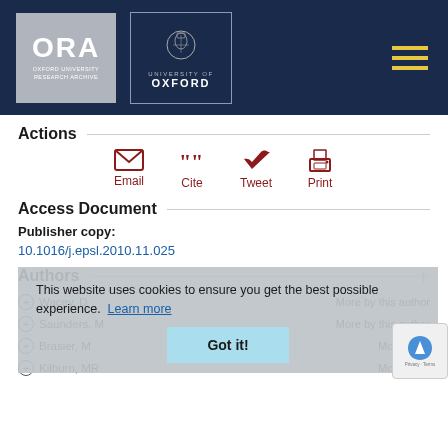[Figure (logo): ORA Oxford University Research Archive logo and University of Oxford crest logo on dark navy header with hamburger menu icon]
Actions
[Figure (infographic): Four action icons in dark red: Email (envelope), Cite (quotation marks), Tweet (bird), Print (printer), each labeled below]
Access Document
Publisher copy:
10.1016/j.epsl.2010.11.025
Authors
+ Wacey, D   More by this author
+ Saunders, M   More by this author
+ Brasier, M   More by th
+ Kilburn, MR   More by th
This website uses cookies to ensure you get the best possible experience. Learn more
Got it!